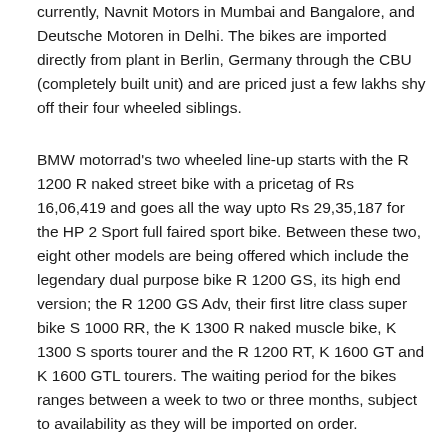currently, Navnit Motors in Mumbai and Bangalore, and Deutsche Motoren in Delhi. The bikes are imported directly from plant in Berlin, Germany through the CBU (completely built unit) and are priced just a few lakhs shy off their four wheeled siblings.
BMW motorrad's two wheeled line-up starts with the R 1200 R naked street bike with a pricetag of Rs 16,06,419 and goes all the way upto Rs 29,35,187 for the HP 2 Sport full faired sport bike. Between these two, eight other models are being offered which include the legendary dual purpose bike R 1200 GS, its high end version; the R 1200 GS Adv, their first litre class super bike S 1000 RR, the K 1300 R naked muscle bike, K 1300 S sports tourer and the R 1200 RT, K 1600 GT and K 1600 GTL tourers. The waiting period for the bikes ranges between a week to two or three months, subject to availability as they will be imported on order.